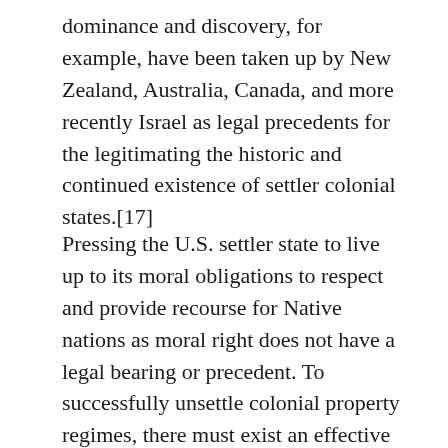dominance and discovery, for example, have been taken up by New Zealand, Australia, Canada, and more recently Israel as legal precedents for the legitimating the historic and continued existence of settler colonial states.[17]
Pressing the U.S. settler state to live up to its moral obligations to respect and provide recourse for Native nations as moral right does not have a legal bearing or precedent. To successfully unsettle colonial property regimes, there must exist an effective legal mechanism that addresses “reconciliation” and “decolonization” as a material redistribution of power. For Native nations, the realization of material power is the very existence of Native nations as property-owning nations that